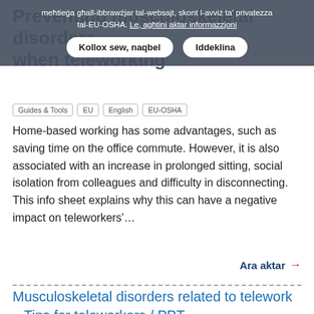Preventing musculoskeletal disorders when teleworking
[Figure (screenshot): Cookie consent banner overlay with text in Maltese: 'meħtieġa għall-ibbrawżjar tal-websajt, skont l-avviż ta' privatezza tal-EU-OSHA. Le, agħtini aktar informazzjoni' and two buttons: 'Kollox sew, naqbel' and 'Iddeklina']
Guides & Tools   EU   English   EU-OSHA
Home-based working has some advantages, such as saving time on the office commute. However, it is also associated with an increase in prolonged sitting, social isolation from colleagues and difficulty in disconnecting. This info sheet explains why this can have a negative impact on teleworkers'…
Ara aktar →
Musculoskeletal disorders related to telework – Tips for teleworkers / PPT